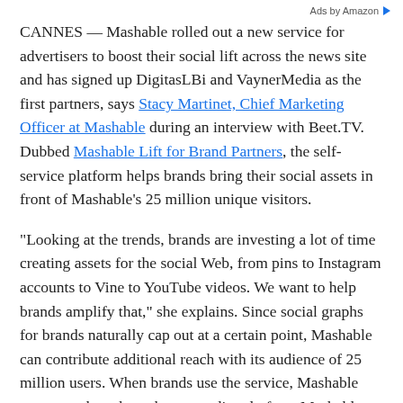Ads by Amazon
CANNES — Mashable rolled out a new service for advertisers to boost their social lift across the news site and has signed up DigitasLBi and VaynerMedia as the first partners, says Stacy Martinet, Chief Marketing Officer at Mashable during an interview with Beet.TV. Dubbed Mashable Lift for Brand Partners, the self-service platform helps brands bring their social assets in front of Mashable's 25 million unique visitors.
"Looking at the trends, brands are investing a lot of time creating assets for the social Web, from pins to Instagram accounts to Vine to YouTube videos. We want to help brands amplify that," she explains. Since social graphs for brands naturally cap out at a certain point, Mashable can contribute additional reach with its audience of 25 million users. When brands use the service, Mashable users can then share the assets directly from Mashable. Martinet adds that Mashable is